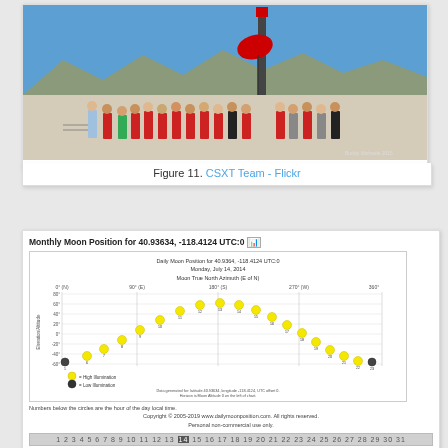[Figure (photo): Group photo of CSXT Team members in red shirts standing in front of a tall rocket on a desert dry lake bed with blue sky and mountains in background. Photo credit: Buddy Michaels/2015]
Figure 11. CSXT Team - Flickr
[Figure (continuous-plot): Daily Moon Position chart for 40.9364, -118.4124 UTC:0 on Monday, July 14, 2014. Shows Moon True North Azimuth (E of N) on x-axis (0 to 360) and elevation on y-axis. Arc of yellow dots (High Illumination) rising and setting across the chart with numbers below indicating hours. Legend shows yellow dot = High Illumination, black dot = Low Illumination. Data generated for latitude 40.93634, longitude -118.4124, UTC offset 0. Horizon is Moon Altitude 0 on the left of chart. Numbers below the circles are the hour of the day local time. Copyright 2005-2019 www.dailymoonposition.com. All rights reserved. Personal non-commercial use only.]
1 2 3 4 5 6 7 8 9 10 11 12 13 14 15 16 17 18 19 20 21 22 23 24 25 26 27 28 29 30 31